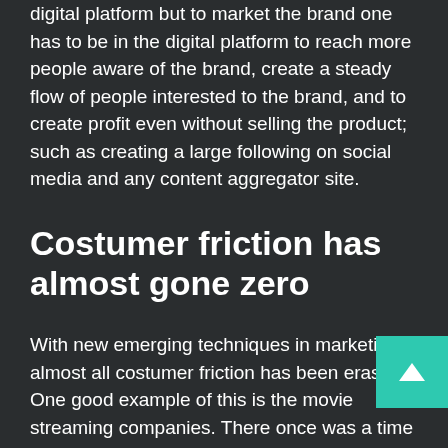digital platform but to market the brand one has to be in the digital platform to reach more people aware of the brand, create a steady flow of people interested to the brand, and to create profit even without selling the product; such as creating a large following on social media and any content aggregator site.
Costumer friction has almost gone zero
With new emerging techniques in marketing, almost all costumer friction has been erased. One good example of this is the movie streaming companies. There once was a time when anyone...